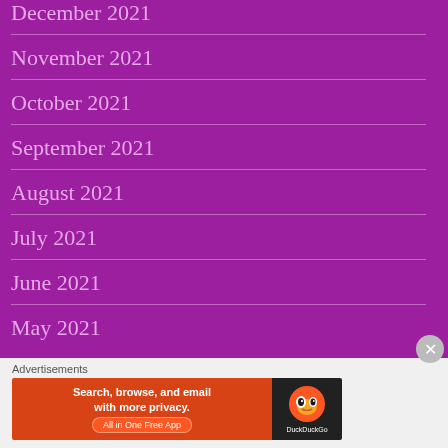December 2021
November 2021
October 2021
September 2021
August 2021
July 2021
June 2021
May 2021
Advertisements
[Figure (screenshot): DuckDuckGo advertisement banner: orange left side with text 'Search, browse, and email with more privacy. All in One Free App' and dark right side with DuckDuckGo duck logo]